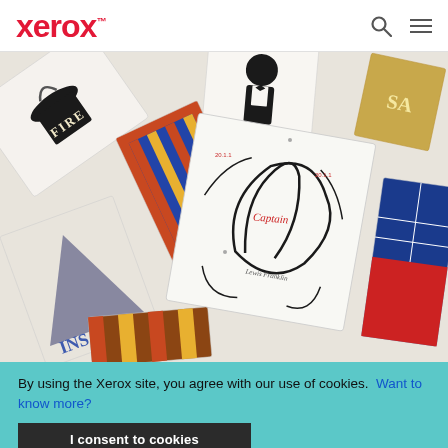Xerox™
[Figure (photo): Overhead view of scattered printed cards/booklets with various typography designs including 'FIRE' text in vintage style, calligraphic lettering, a figure in tuxedo silhouette, and other graphic design samples spread across a surface]
By using the Xerox site, you agree with our use of cookies. Want to know more?
I consent to cookies
[Figure (photo): Bottom strip of printed cards partially visible]